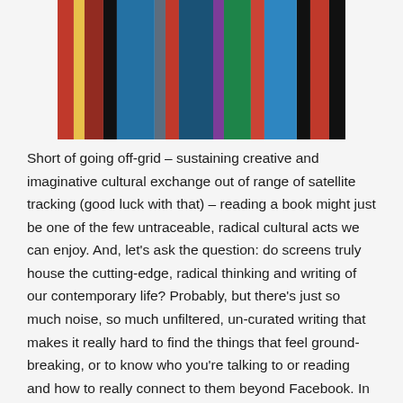[Figure (photo): A row of colorful book spines arranged side by side, showing multiple books with colored spines in red, blue, green, yellow, and black — Harry Potter series books by J.K. Rowling.]
Short of going off-grid – sustaining creative and imaginative cultural exchange out of range of satellite tracking (good luck with that) – reading a book might just be one of the few untraceable, radical cultural acts we can enjoy. And, let's ask the question: do screens truly house the cutting-edge, radical thinking and writing of our contemporary life? Probably, but there's just so much noise, so much unfiltered, un-curated writing that makes it really hard to find the things that feel ground-breaking, or to know who you're talking to or reading and how to really connect to them beyond Facebook. In contrast, I recently ran across, in a market stall, a small poetry chapbook entitled Eat My Corn. I sat down with the pamphlet over tea, feeling oddly like I'd made a new friend, engrossed in